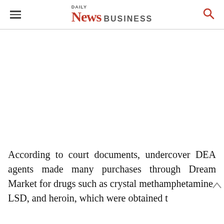DAILY News BUSINESS
According to court documents, undercover DEA agents made many purchases through Dream Market for drugs such as crystal methamphetamine, LSD, and heroin, which were obtained...